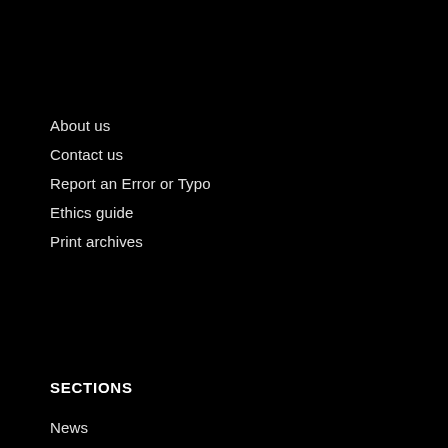About us
Contact us
Report an Error or Typo
Ethics guide
Print archives
SECTIONS
News
Arts and Entertainment
Treaty 7
Living
Profiles
Special Projects
Sports
Profiles
Video